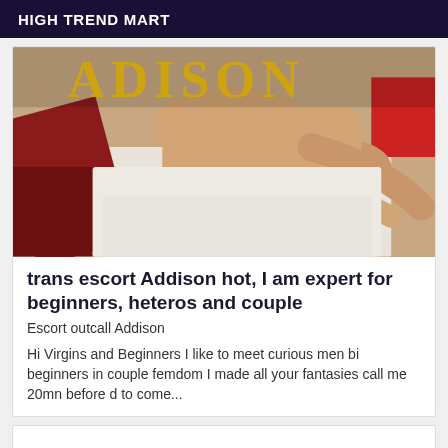HIGH TREND MART
[Figure (photo): Photograph showing people on a bed/massage table with red fabric and white sheets, with yellow text overlay partially visible at top.]
trans escort Addison hot, I am expert for beginners, heteros and couple
Escort outcall Addison
Hi Virgins and Beginners I like to meet curious men bi beginners in couple femdom I made all your fantasies call me 20mn before d to come...